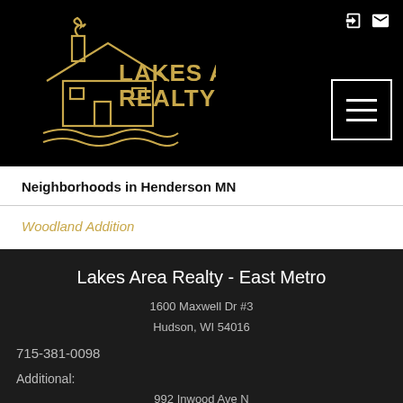Lakes Area Realty
Neighborhoods in Henderson MN
Woodland Addition
Lakes Area Realty - East Metro
1600 Maxwell Dr #3
Hudson, WI 54016
715-381-0098
Additional:
992 Inwood Ave N
Oakdale, MN 55128